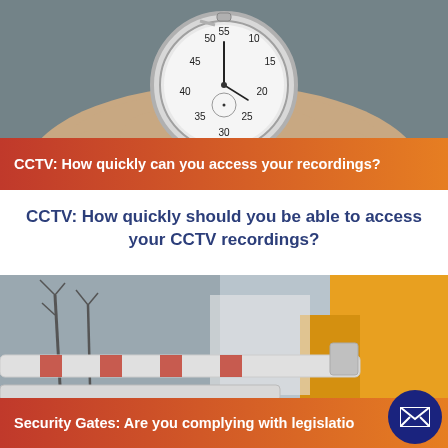[Figure (photo): Close-up of a hand holding a stopwatch/chronometer, with trees and blurred background]
CCTV: How quickly can you access your recordings?
CCTV: How quickly should you be able to access your CCTV recordings?
[Figure (photo): Close-up of a security barrier gate arm with red and white stripes, yellow structure and building in background]
Security Gates: Are you complying with legislation